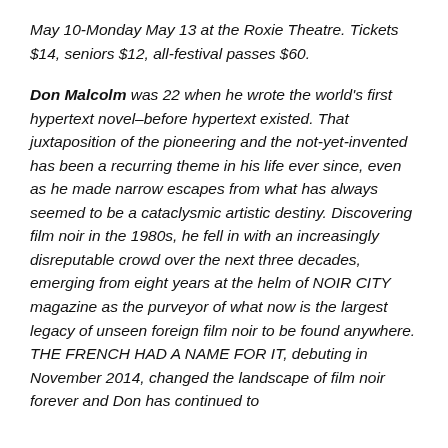May 10-Monday May 13 at the Roxie Theatre. Tickets $14, seniors $12, all-festival passes $60.
Don Malcolm was 22 when he wrote the world's first hypertext novel–before hypertext existed. That juxtaposition of the pioneering and the not-yet-invented has been a recurring theme in his life ever since, even as he made narrow escapes from what has always seemed to be a cataclysmic artistic destiny. Discovering film noir in the 1980s, he fell in with an increasingly disreputable crowd over the next three decades, emerging from eight years at the helm of NOIR CITY magazine as the purveyor of what now is the largest legacy of unseen foreign film noir to be found anywhere. THE FRENCH HAD A NAME FOR IT, debuting in November 2014, changed the landscape of film noir forever and Don has continued to